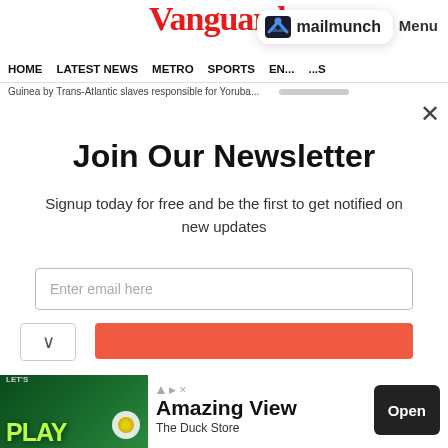Vanguard
≡ Menu
[Figure (logo): Mailmunch logo badge with blue M icon and text 'mailmunch']
HOME  LATEST NEWS  METRO  SPORTS  EN...  ...S
Guinea by Trans-Atlantic slaves responsible for Yoruba...
Join Our Newsletter
Signup today for free and be the first to get notified on new updates
Enter email here
[Figure (screenshot): Orange Subscribe button (partially visible)]
[Figure (screenshot): Ad banner: LET'S PLAY with green neon background, Amazing View, The Duck Store, Open button]